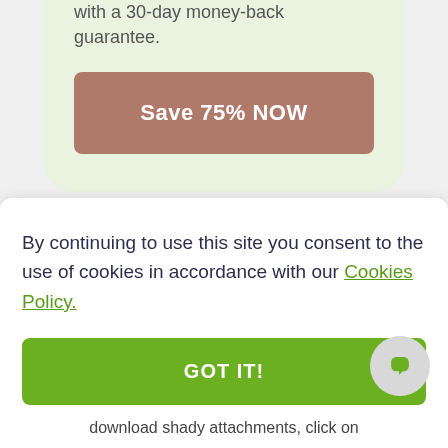with a 30-day money-back guarantee.
Save 75% NOW
By continuing to use this site you consent to the use of cookies in accordance with our Cookies Policy.
GOT IT!
download shady attachments, click on